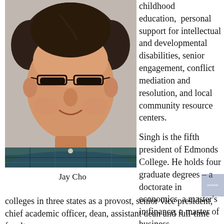[Figure (photo): Headshot photo of Jay Cho, a middle-aged Asian man wearing glasses and a plaid shirt, photographed against a gray background.]
Jay Cho
childhood education, personal support for intellectual and developmental disabilities, senior engagement, conflict mediation and resolution, and local community resource centers.
Singh is the fifth president of Edmonds College. He holds four graduate degrees – a doctorate in economics, a master's in finance, a master of business administration, and a master's in economics. He has previously served in four different community colleges in three states as a provost, senior vice president, chief academic officer, dean, assistant dean and full-time faculty.